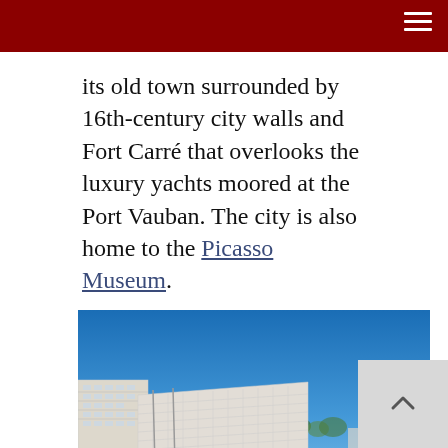its old town surrounded by 16th-century city walls and Fort Carré that overlooks the luxury yachts moored at the Port Vauban. The city is also home to the Picasso Museum.
[Figure (photo): Coastal panorama of Antibes, France: rocky foreground shoreline, calm blue harbor water, white apartment buildings along the waterfront, clear blue sky, two people walking near the water]